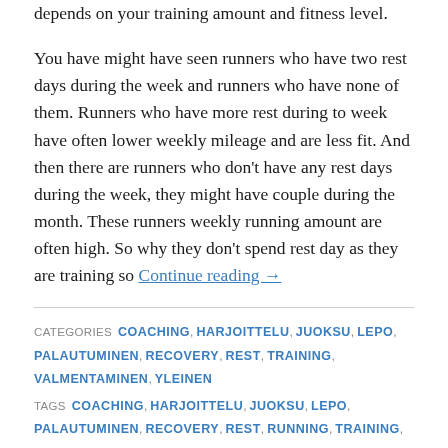depends on your training amount and fitness level.
You have might have seen runners who have two rest days during the week and runners who have none of them. Runners who have more rest during to week have often lower weekly mileage and are less fit. And then there are runners who don't have any rest days during the week, they might have couple during the month. These runners weekly running amount are often high. So why they don't spend rest day as they are training so
Continue reading →
CATEGORIES  COACHING, HARJOITTELU, JUOKSU, LEPO, PALAUTUMINEN, RECOVERY, REST, TRAINING, VALMENTAMINEN, YLEINEN
TAGS  COACHING, HARJOITTELU, JUOKSU, LEPO, PALAUTUMINEN, RECOVERY, REST, RUNNING, TRAINING, VALMENNUS